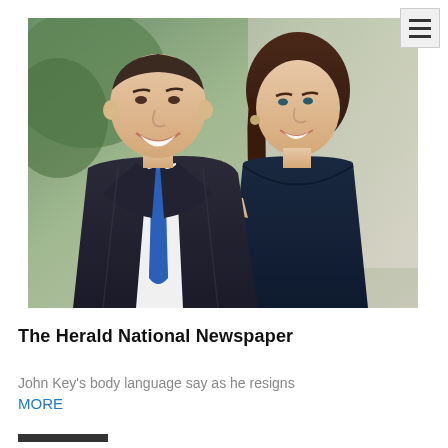[Figure (photo): Two smiling people (a man in a dark suit with blue tie and a woman in a dark navy top) posing together outdoors with a green blurred background.]
The Herald National Newspaper
John Key's body language say as he resigns
MORE